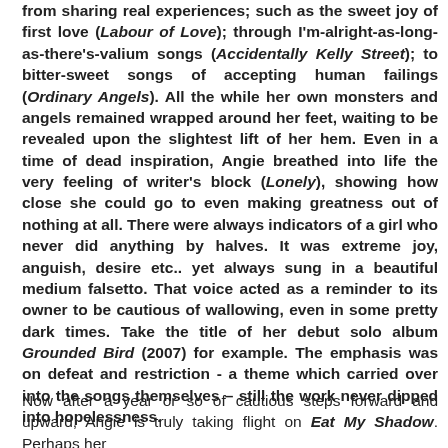from sharing real experiences; such as the sweet joy of first love (Labour of Love); through I'm-alright-as-long-as-there's-valium songs (Accidentally Kelly Street); to bitter-sweet songs of accepting human failings (Ordinary Angels). All the while her own monsters and angels remained wrapped around her feet, waiting to be revealed upon the slightest lift of her hem. Even in a time of dead inspiration, Angie breathed into life the very feeling of writer's block (Lonely), showing how close she could go to even making greatness out of nothing at all. There were always indicators of a girl who never did anything by halves. It was extreme joy, anguish, desire etc.. yet always sung in a beautiful medium falsetto. That voice acted as a reminder to its owner to be cautious of wallowing, even in some pretty dark times. Take the title of her debut solo album Grounded Bird (2007) for example. The emphasis was on defeat and restriction - a theme which carried over into the songs themselves – still the work never dipped into hopelessness.
Now after a year or so of cautious steps forward and upward, Angie is truly taking flight on Eat My Shadow. Perhaps her